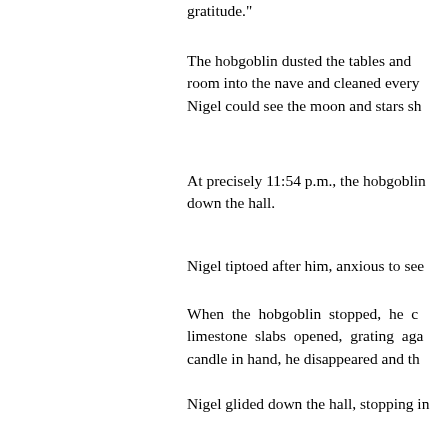gratitude."
The hobgoblin dusted the tables and room into the nave and cleaned every Nigel could see the moon and stars sh
At precisely 11:54 p.m., the hobgoblin down the hall.
Nigel tiptoed after him, anxious to see
When the hobgoblin stopped, he c limestone slabs opened, grating aga candle in hand, he disappeared and th
Nigel glided down the hall, stopping in and his heart gave a flutter of admi stone, he gave up and went to his cu asleep.
He awakened to a pair of larks singing his body as though he were a cat, he p
Ella stood at the stove cooking sausa cathedral must have been filthy to ke about a thing. I've got a nice breakfas